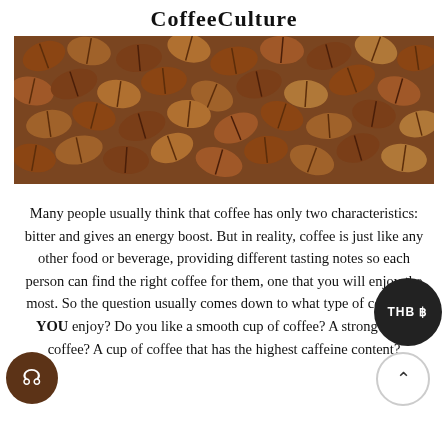CoffeeCulture
[Figure (photo): Close-up photograph of roasted coffee beans filling the entire frame, showing rich brown tones with variation from light to dark roast beans.]
Many people usually think that coffee has only two characteristics: bitter and gives an energy boost. But in reality, coffee is just like any other food or beverage, providing different tasting notes so each person can find the right coffee for them, one that you will enjoy the most. So the question usually comes down to what type of coffee do YOU enjoy? Do you like a smooth cup of coffee? A strong bitter coffee? A cup of coffee that has the highest caffeine content?